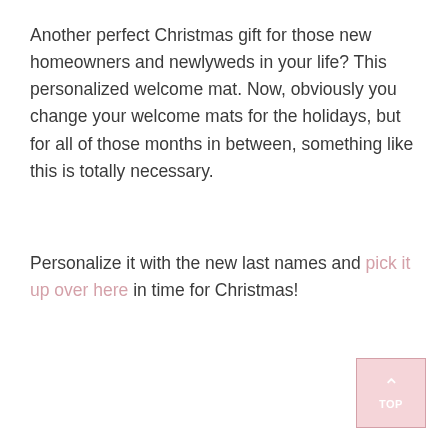Another perfect Christmas gift for those new homeowners and newlyweds in your life? This personalized welcome mat. Now, obviously you change your welcome mats for the holidays, but for all of those months in between, something like this is totally necessary.
Personalize it with the new last names and pick it up over here in time for Christmas!